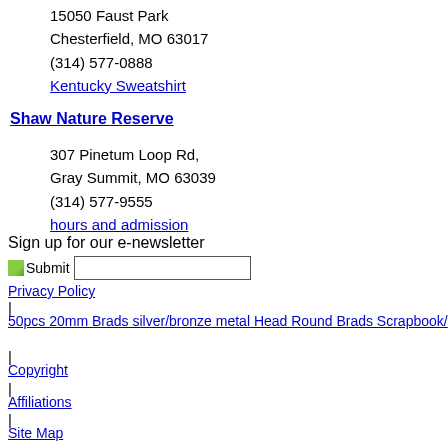15050 Faust Park
Chesterfield, MO 63017
(314) 577-0888
Kentucky Sweatshirt
Shaw Nature Reserve
307 Pinetum Loop Rd,
Gray Summit, MO 63039
(314) 577-9555
hours and admission
Sign up for our e-newsletter
Privacy Policy
|
50pcs 20mm Brads silver/bronze metal Head Round Brads Scrapbook/
|
Copyright
|
Affiliations
|
Site Map